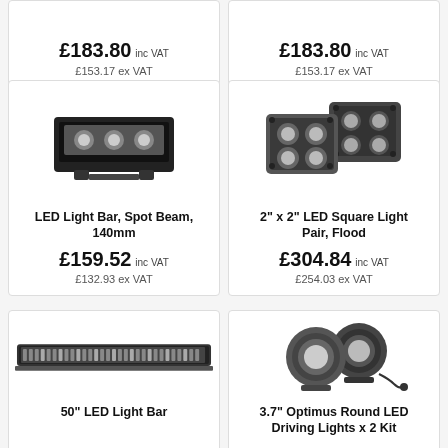£183.80 inc VAT / £153.17 ex VAT (left top card)
£183.80 inc VAT / £153.17 ex VAT (right top card)
[Figure (photo): LED Light Bar Spot Beam 140mm product photo on white background]
LED Light Bar, Spot Beam, 140mm
£159.52 inc VAT
£132.93 ex VAT
[Figure (photo): 2 inch x 2 inch LED Square Light Pair Flood product photo showing two square LED lights]
2" x 2" LED Square Light Pair, Flood
£304.84 inc VAT
£254.03 ex VAT
[Figure (photo): 50 inch LED Light Bar product photo showing a long horizontal LED bar]
50" LED Light Bar
[Figure (photo): 3.7 inch Optimus Round LED Driving Lights x 2 Kit product photo showing two round LED driving lights]
3.7" Optimus Round LED Driving Lights x 2 Kit